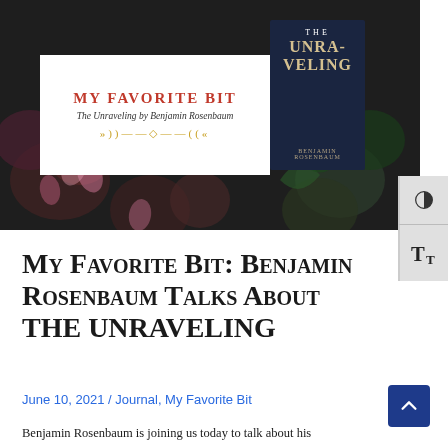[Figure (photo): Hero banner image showing 'My Favorite Bit: The Unraveling by Benjamin Rosenbaum' overlaid on a dark floral background. A white text box on the left displays the title in bold red caps and italic subtitle. The book cover for 'The Unraveling' by Benjamin Rosenbaum is shown on the right of the banner.]
My Favorite Bit: Benjamin Rosenbaum Talks About THE UNRAVELING
June 10, 2021 / Journal, My Favorite Bit
Benjamin Rosenbaum is joining us today to talk about his